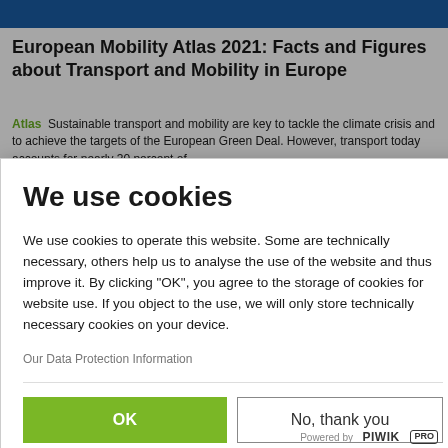European Mobility Atlas 2021: Facts and Figures about Transport and Mobility in Europe
Atlas Sustainable transport and mobility are key to tackle the climate crisis and to achieve the targets of the European Green Deal. However, transport today accounts for nearly 30 percent of
We use cookies
We use cookies to operate this website. Some are technically necessary, others help us to analyse the use of the website and thus improve it. By clicking "OK", you agree to the storage of cookies for website use. If you object to the use, we will only store technically necessary cookies on your device.
Our Data Protection Information
OK
No, thank you
Powered by PIWIK PRO